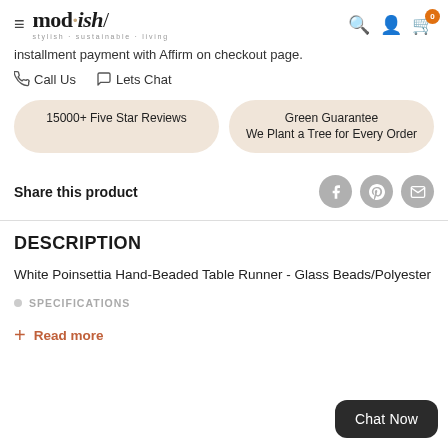mod·ish/ stylish·sustainable·living
installment payment with Affirm on checkout page.
Call Us   Lets Chat
15000+ Five Star Reviews
Green Guarantee
We Plant a Tree for Every Order
Share this product
DESCRIPTION
White Poinsettia Hand-Beaded Table Runner - Glass Beads/Polyester
SPECIFICATIONS
+ Read more
Chat Now